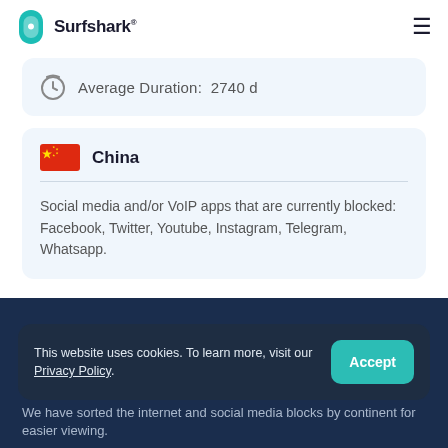Surfshark®
Average Duration:  2740 d
China
Social media and/or VoIP apps that are currently blocked: Facebook, Twitter, Youtube, Instagram, Telegram, Whatsapp.
This website uses cookies. To learn more, visit our Privacy Policy.
We have sorted the internet and social media blocks by continent for easier viewing.